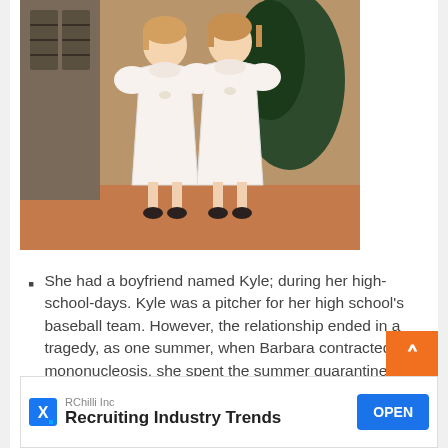[Figure (photo): Two young girls in matching white dresses standing together indoors, likely sisters as children.]
She had a boyfriend named Kyle; during her high-school-days. Kyle was a pitcher for her high school's baseball team. However, the relationship ended in a tragedy, as one summer, when Barbara contracted mononucleosis, she spent the summer quarantined in her room, and when Kyle made a phone call to Barbara, she didn't pick that up as she didn't want to have the boy she liked to hear her at her worst. That night Kyle hanged himself. The news about Kyle's hanging devastated Barbara so much that initially, she wasn't ready to accept that he had gone. Soon after, Barbara realized the truth and started doing whatever she can to keep Kyle's memory alive.
[Figure (infographic): Advertisement banner: RChilli Inc - Recruiting Industry Trends - OPEN button]